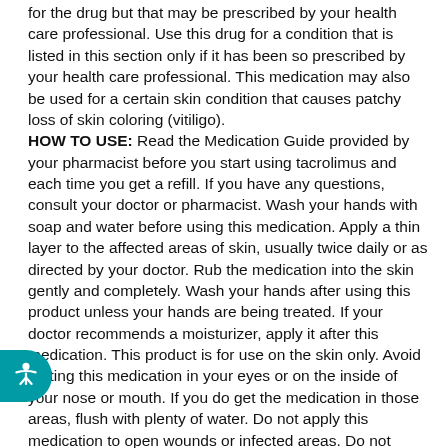for the drug but that may be prescribed by your health care professional. Use this drug for a condition that is listed in this section only if it has been so prescribed by your health care professional. This medication may also be used for a certain skin condition that causes patchy loss of skin coloring (vitiligo). HOW TO USE: Read the Medication Guide provided by your pharmacist before you start using tacrolimus and each time you get a refill. If you have any questions, consult your doctor or pharmacist. Wash your hands with soap and water before using this medication. Apply a thin layer to the affected areas of skin, usually twice daily or as directed by your doctor. Rub the medication into the skin gently and completely. Wash your hands after using this product unless your hands are being treated. If your doctor recommends a moisturizer, apply it after this medication. This product is for use on the skin only. Avoid getting this medication in your eyes or on the inside of your nose or mouth. If you do get the medication in those areas, flush with plenty of water. Do not apply this medication to open wounds or infected areas. Do not cover the treated area with